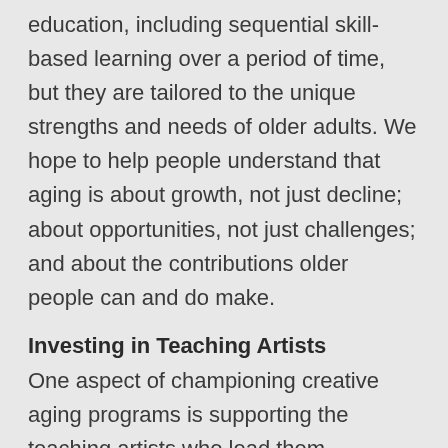education, including sequential skill-based learning over a period of time, but they are tailored to the unique strengths and needs of older adults. We hope to help people understand that aging is about growth, not just decline; about opportunities, not just challenges; and about the contributions older people can and do make.
Investing in Teaching Artists
One aspect of championing creative aging programs is supporting the teaching artists who lead them. According to the most recent Creative MN report, there are 108,755 creative and artist workers and 1,903 nonprofit arts and